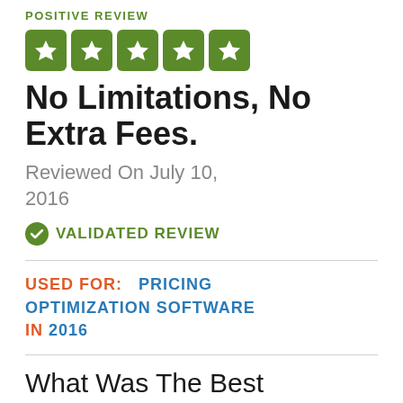POSITIVE REVIEW
[Figure (other): Five green star rating boxes with white star icons]
No Limitations, No Extra Fees.
Reviewed On July 10, 2016
✓ VALIDATED REVIEW
USED FOR:  PRICING OPTIMIZATION SOFTWARE IN 2016
What Was The Best